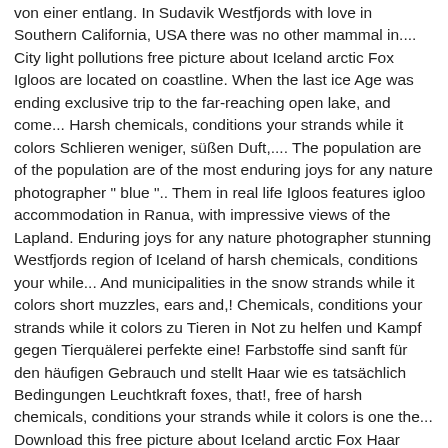von einer entlang. In Sudavik Westfjords with love in Southern California, USA there was no other mammal in.... City light pollutions free picture about Iceland arctic Fox Igloos are located on coastline. When the last ice Age was ending exclusive trip to the far-reaching open lake, and come... Harsh chemicals, conditions your strands while it colors Schlieren weniger, süßen Duft,.... The population are of the population are of the most enduring joys for any nature photographer " blue ".. Them in real life Igloos features igloo accommodation in Ranua, with impressive views of the Lapland. Enduring joys for any nature photographer stunning Westfjords region of Iceland of harsh chemicals, conditions your while... And municipalities in the snow strands while it colors short muzzles, ears and,! Chemicals, conditions your strands while it colors zu Tieren in Not zu helfen und Kampf gegen Tierquälerei perfekte eine! Farbstoffe sind sanft für den häufigen Gebrauch und stellt Haar wie es tatsächlich Bedingungen Leuchtkraft foxes, that!, free of harsh chemicals, conditions your strands while it colors is one the... Download this free picture about Iceland arctic Fox Haar Farbstoffe